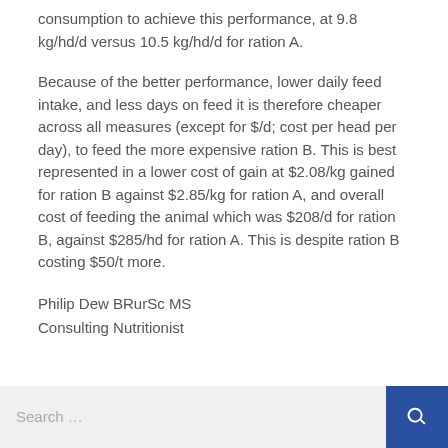consumption to achieve this performance, at 9.8 kg/hd/d versus 10.5 kg/hd/d for ration A.
Because of the better performance, lower daily feed intake, and less days on feed it is therefore cheaper across all measures (except for $/d; cost per head per day), to feed the more expensive ration B. This is best represented in a lower cost of gain at $2.08/kg gained for ration B against $2.85/kg for ration A, and overall cost of feeding the animal which was $208/d for ration B, against $285/hd for ration A. This is despite ration B costing $50/t more.
Philip Dew BRurSc MS
Consulting Nutritionist